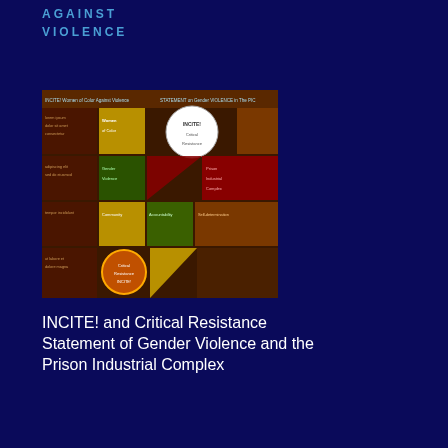AGAINST VIOLENCE
[Figure (photo): Colorful document/poster with grid of colored panels including brown, olive, yellow, red, green sections with text and a circular white emblem]
INCITE! and Critical Resistance Statement of Gender Violence and the Prison Industrial Complex
........................................................
WOMEN AND PRISON LINKS
California Coalition for Women Prisoners